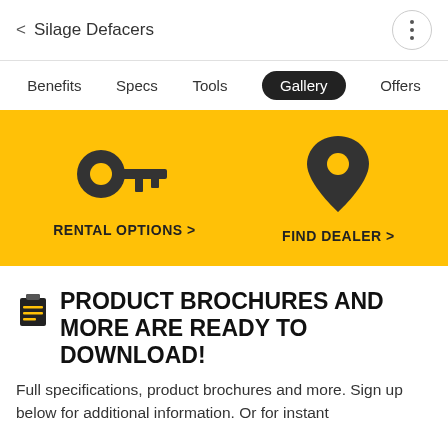< Silage Defacers
Benefits  Specs  Tools  Gallery  Offers
[Figure (infographic): Yellow banner with two icons and links: a key icon labeled RENTAL OPTIONS > and a map pin icon labeled FIND DEALER >]
PRODUCT BROCHURES AND MORE ARE READY TO DOWNLOAD!
Full specifications, product brochures and more. Sign up below for additional information. Or for instant